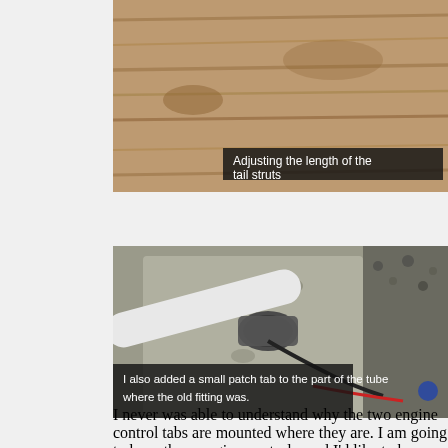[Figure (photo): Photo of wooden surface with a label overlay reading 'Adjusting the length of the tail struts']
Adjusting the length of the tail struts
[Figure (photo): Close-up photo of a tube joint wrapped with patch material, with caption overlay 'I also added a small patch tab to the part of the tube where the old fitting was.']
I also added a small patch tab to the part of the tube where the old fitting was.
I never was able to understand why the two engine control tabs are mounted where they are. I am going to have three engine controls, and I'd like to have